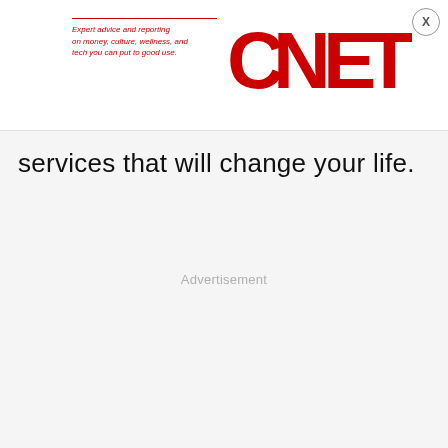[Figure (logo): CNET logo with tagline: Expert advice and reporting on money, culture, wellness, and tech you can put to good use.]
services that will change your life.
Advertisement